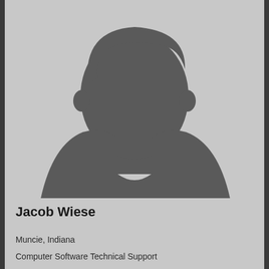[Figure (photo): Generic silhouette placeholder profile photo of a person (bust/head) on a light gray background]
Jacob Wiese
Muncie, Indiana
Computer Software Technical Support